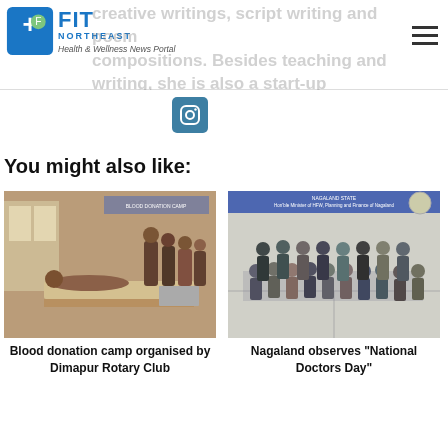FIT NORTHEAST - Health & Wellness News Portal
creative writings, script writing and poem compositions. Besides teaching and writing, she is also a startup entrepreneur.
[Figure (logo): Instagram icon button, teal/blue square with Instagram camera icon]
You might also like:
[Figure (photo): Blood donation camp photo showing people donating blood and volunteers at Dimapur Rotary Club event]
Blood donation camp organised by Dimapur Rotary Club
[Figure (photo): Group photo at Nagaland National Doctors Day event, people posed in formal/semi-formal attire in a hall]
Nagaland observes "National Doctors Day"